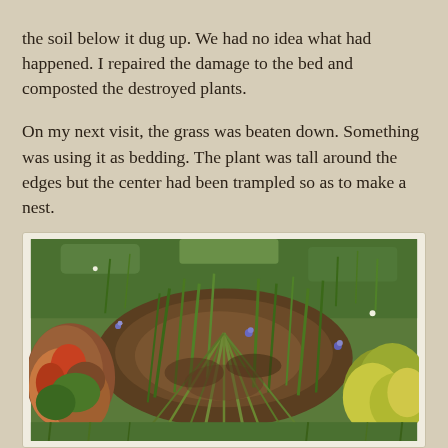the soil below it dug up. We had no idea what had happened. I repaired the damage to the bed and composted the destroyed plants.

On my next visit, the grass was beaten down. Something was using it as bedding. The plant was tall around the edges but the center had been trampled so as to make a nest.
[Figure (photo): Outdoor garden photo showing an area of grass and plants where the center has been trampled flat, creating a nest-like depression. Surrounding vegetation includes tall grass blades, leafy plants with reddish and green foliage on the left, yellow-green plants on the right, and some small purple flowers. The soil is visible in the trampled center area.]